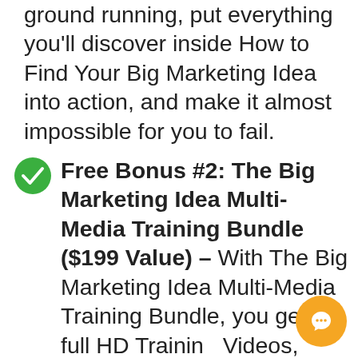ground running, put everything you'll discover inside How to Find Your Big Marketing Idea into action, and make it almost impossible for you to fail.
Free Bonus #2: The Big Marketing Idea Multi-Media Training Bundle ($199 Value) – With The Big Marketing Idea Multi-Media Training Bundle, you get the full HD Training Videos, Audio Training,